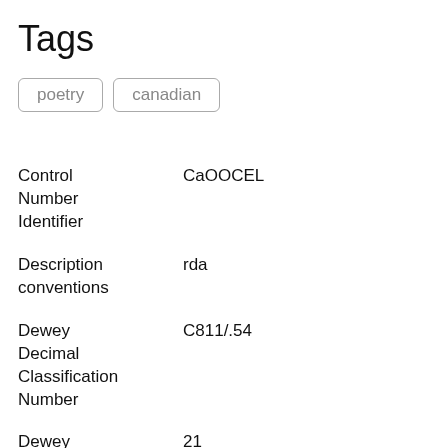Tags
poetry
canadian
Control Number Identifier	CaOOCEL
Description conventions	rda
Dewey Decimal Classification Number	C811/.54
Dewey Decimal Edition	21